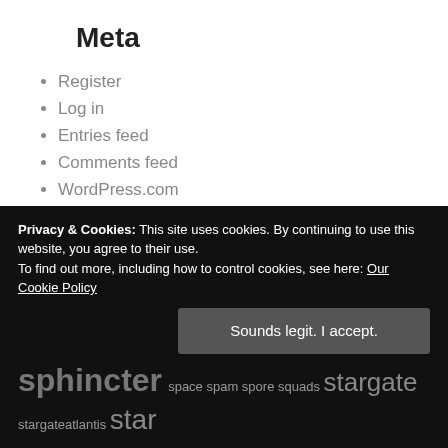Meta
Register
Log in
Entries feed
Comments feed
WordPress.com
1.31 adobe apple austin battleground europe battlegroundeurope C++ c++0x c++11 capture cats chrome Coding databases dba elite firefox games gamevideos Gaming gcc sphincter space spam spore squads stargate stargateatlantis star
Privacy & Cookies: This site uses cookies. By continuing to use this website, you agree to their use. To find out more, including how to control cookies, see here: Our Cookie Policy
Sounds legit. I accept.